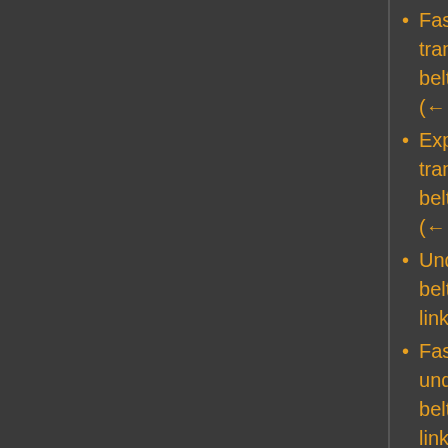Fast transport belt/fr  (← links)
Express transport belt/fr  (← links)
Underground belt/fr  (← links)
Fast underground belt/fr  (← links)
Express underground belt/fr  (← links)
Splitter/fr  (← links)
Fast splitter/fr  (← links)
Express splitter/fr  (← links)
Inserter/fr  (← links)
Long-handed inserter/fr  (← links)
Fast inserter/fr  (← links)
Filter inserter/fr  (← links)
Stack inserter/fr  (← links)
Stack filter inserter/fr  (← links)
Medium electric pole/fr  (← links)
Substation/fr  (← links)
Pipe/fr  (← links)
Pump/fr  (← links)